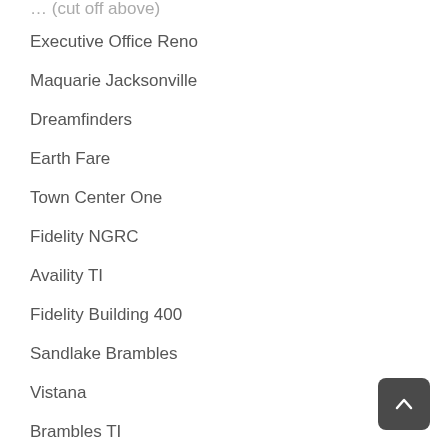Executive Office Reno
Maquarie Jacksonville
Dreamfinders
Earth Fare
Town Center One
Fidelity NGRC
Availity TI
Fidelity Building 400
Sandlake Brambles
Vistana
Brambles TI
Town Center Two
Fidelity 400